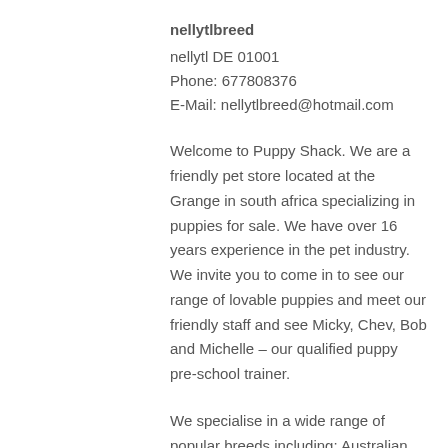nellytlbreed
nellytl DE 01001
Phone: 677808376
E-Mail: nellytlbreed@hotmail.com
Welcome to Puppy Shack. We are a friendly pet store located at the Grange in south africa specializing in puppies for sale. We have over 16 years experience in the pet industry. We invite you to come in to see our range of lovable puppies and meet our friendly staff and see Micky, Chev, Bob and Michelle – our qualified puppy pre-school trainer.
We specialise in a wide range of popular breeds including: Australian Terrier, Beagle, Beaglier, Bichon Frise, Cavalier King Charles Spaniel, Cavoodle, Chihuahua, Cocker Spaniel, English Bull Terrier, Golden Retriever, Groodle, Jack Russell x, Labradoodle, Labrador, Lhoodle, Maltese x, Mini Dachshund, Mini Fox Terrier, Mini Poodle, Mini...